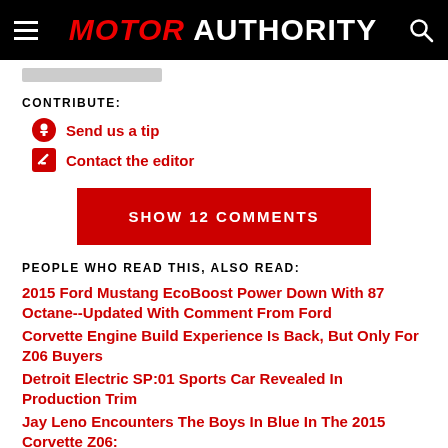MOTOR AUTHORITY
CONTRIBUTE:
Send us a tip
Contact the editor
SHOW 12 COMMENTS
PEOPLE WHO READ THIS, ALSO READ:
2015 Ford Mustang EcoBoost Power Down With 87 Octane--Updated With Comment From Ford
Corvette Engine Build Experience Is Back, But Only For Z06 Buyers
Detroit Electric SP:01 Sports Car Revealed In Production Trim
Jay Leno Encounters The Boys In Blue In The 2015 Corvette Z06: